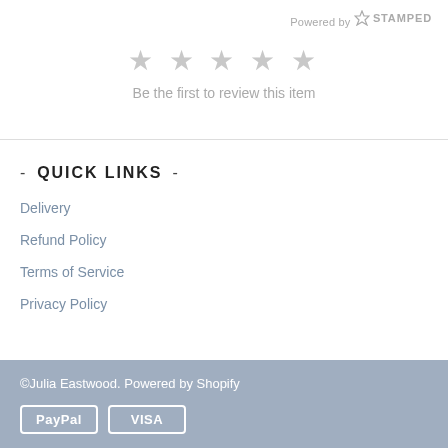Powered by STAMPED
[Figure (infographic): Five grey empty star icons for rating]
Be the first to review this item
- QUICK LINKS -
Delivery
Refund Policy
Terms of Service
Privacy Policy
©Julia Eastwood. Powered by Shopify
[Figure (logo): PayPal and VISA payment icons in white bordered boxes]